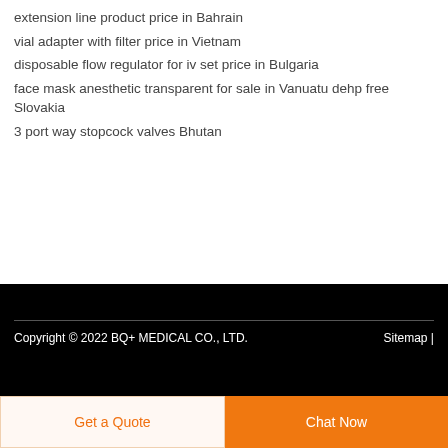extension line product price in Bahrain
vial adapter with filter price in Vietnam
disposable flow regulator for iv set price in Bulgaria
face mask anesthetic transparent for sale in Vanuatu dehp free Slovakia
3 port way stopcock valves Bhutan
[Figure (illustration): Dark blue circular button with white upward arrow (scroll to top button)]
Copyright © 2022 BQ+ MEDICAL CO., LTD.    Sitemap |
Get a Quote
Chat Now